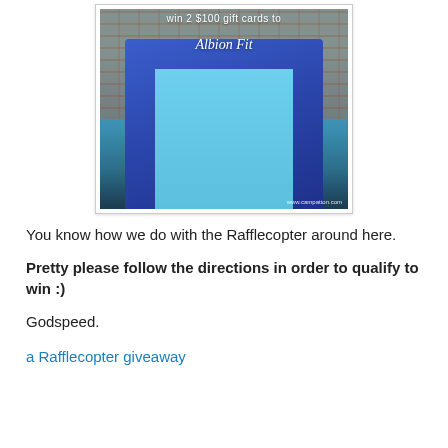[Figure (photo): Photo of a pregnant woman wearing a blue vest and teal shirt in front of a brick wall, with text overlay reading 'win 2 $100 gift cards to Albion Fit' and watermark 'www.campatton.com']
You know how we do with the Rafflecopter around here.
Pretty please follow the directions in order to qualify to win :)
Godspeed.
a Rafflecopter giveaway